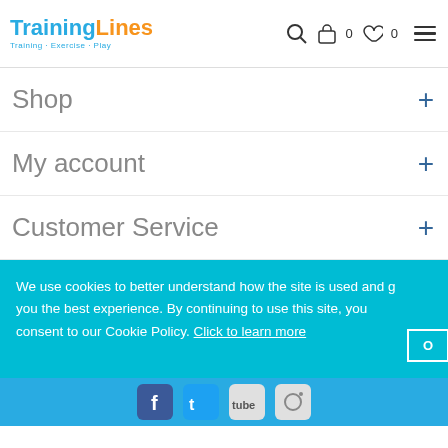TrainingLines - Training · Exercise · Play - Header navigation with search, basket (0), wishlist (0), and hamburger menu
Shop
My account
Customer Service
We use cookies to better understand how the site is used and give you the best experience. By continuing to use this site, you consent to our Cookie Policy. Click to learn more
[Figure (screenshot): Social media icons bar: Facebook, Twitter, YouTube, Instagram]